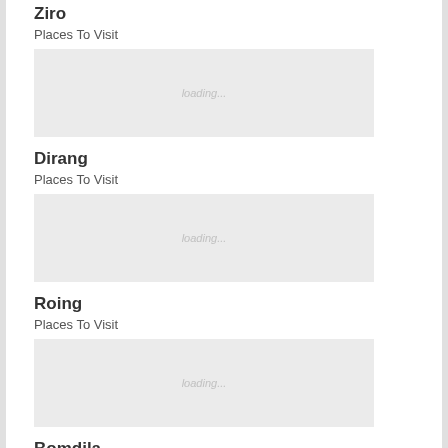Ziro
Places To Visit
[Figure (photo): Loading placeholder image for Ziro]
Dirang
Places To Visit
[Figure (photo): Loading placeholder image for Dirang]
Roing
Places To Visit
[Figure (photo): Loading placeholder image for Roing]
Bomdila
Places To Visit